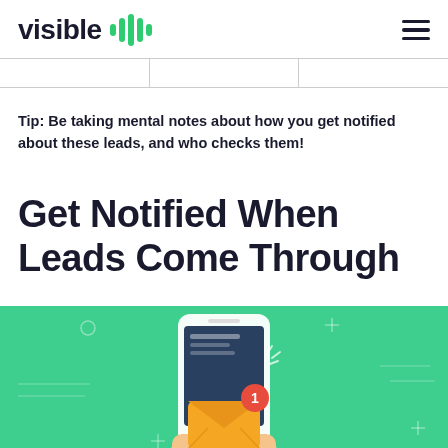visible
Tip: Be taking mental notes about how you get notified about these leads, and who checks them!
Get Notified When Leads Come Through
[Figure (illustration): Green background illustration showing a hand holding a smartphone with a notification badge showing the number 1 on an envelope/mail icon, with decorative plus signs and circle outlines in the background.]